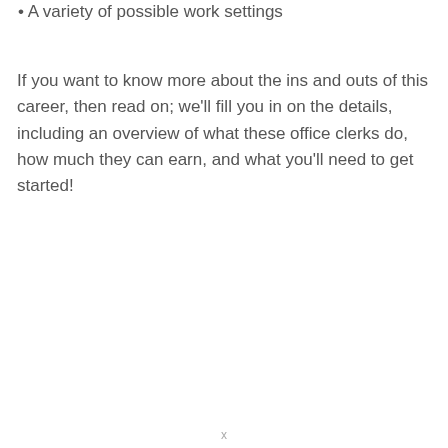A variety of possible work settings
If you want to know more about the ins and outs of this career, then read on; we'll fill you in on the details, including an overview of what these office clerks do, how much they can earn, and what you'll need to get started!
x